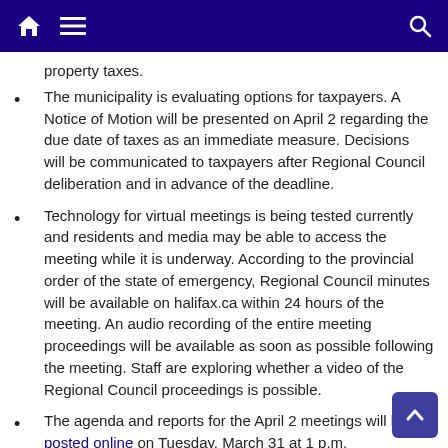Navigation bar with home, menu, and search icons
property taxes.
The municipality is evaluating options for taxpayers. A Notice of Motion will be presented on April 2 regarding the due date of taxes as an immediate measure. Decisions will be communicated to taxpayers after Regional Council deliberation and in advance of the deadline.
Technology for virtual meetings is being tested currently and residents and media may be able to access the meeting while it is underway. According to the provincial order of the state of emergency, Regional Council minutes will be available on halifax.ca within 24 hours of the meeting. An audio recording of the entire meeting proceedings will be available as soon as possible following the meeting. Staff are exploring whether a video of the Regional Council proceedings is possible.
The agenda and reports for the April 2 meetings will be posted online on Tuesday, March 31 at 1 p.m.